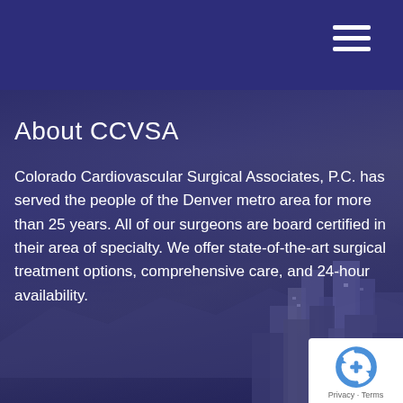About CCVSA
Colorado Cardiovascular Surgical Associates, P.C. has served the people of the Denver metro area for more than 25 years. All of our surgeons are board certified in their area of specialty. We offer state-of-the-art surgical treatment options, comprehensive care, and 24-hour availability.
[Figure (photo): Aerial view of Denver city skyline with buildings, overlaid with dark blue-purple semi-transparent gradient]
[Figure (logo): Google reCAPTCHA badge with circular arrow logo and Privacy - Terms text]